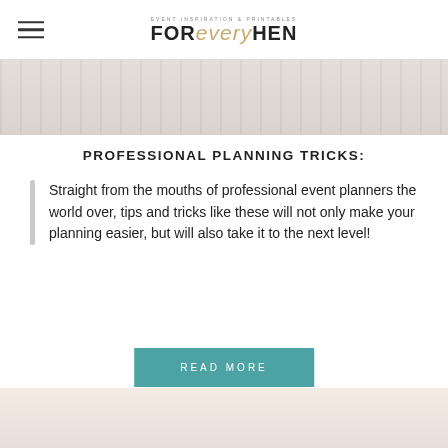EVENT INSPIRATION & PRINTABLES FOR every HEN
[Figure (photo): Top cropped photo of women at a party/event, partially visible at top of page]
PROFESSIONAL PLANNING TRICKS:
Straight from the mouths of professional event planners the world over, tips and tricks like these will not only make your planning easier, but will also take it to the next level!
READ MORE
[Figure (photo): Bottom cropped photo of women at a party/event, partially visible at bottom of page]